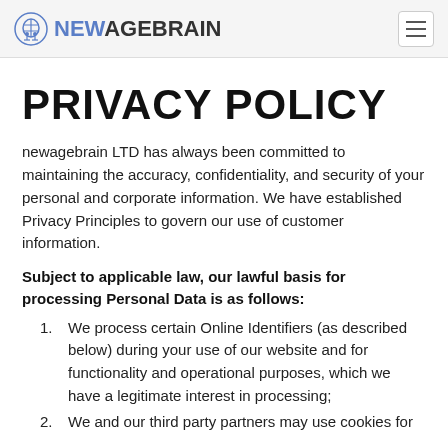NEWAGEBRAIN
PRIVACY POLICY
newagebrain LTD has always been committed to maintaining the accuracy, confidentiality, and security of your personal and corporate information. We have established Privacy Principles to govern our use of customer information.
Subject to applicable law, our lawful basis for processing Personal Data is as follows:
We process certain Online Identifiers (as described below) during your use of our website and for functionality and operational purposes, which we have a legitimate interest in processing;
We and our third party partners may use cookies for